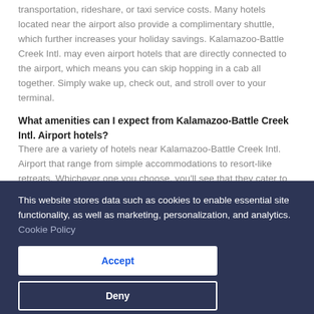A shorter trip from the airport means you'll save on public transportation, rideshare, or taxi service costs. Many hotels located near the airport also provide a complimentary shuttle, which further increases your holiday savings. Kalamazoo-Battle Creek Intl. may even airport hotels that are directly connected to the airport, which means you can skip hopping in a cab all together. Simply wake up, check out, and stroll over to your terminal.
What amenities can I expect from Kalamazoo-Battle Creek Intl. Airport hotels?
There are a variety of hotels near Kalamazoo-Battle Creek Intl. Airport that range from simple accommodations to resort-like retreats. Whichever one you choose, you'll see that they cater to business travellers and late-night arrivals alike. You'll typically
This website stores data such as cookies to enable essential site functionality, as well as marketing, personalization, and analytics. Cookie Policy
Accept
Deny